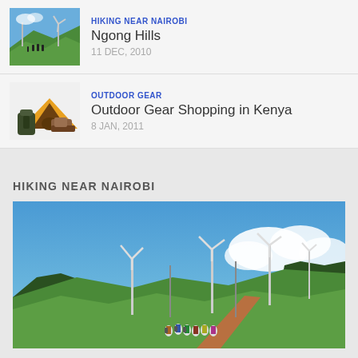HIKING NEAR NAIROBI | Ngong Hills | 11 DEC, 2010
OUTDOOR GEAR | Outdoor Gear Shopping in Kenya | 8 JAN, 2011
HIKING NEAR NAIROBI
[Figure (photo): Wide landscape photo of Ngong Hills showing wind turbines on green rolling hills, a dirt path, and a group of hikers walking under a blue sky with clouds and forest in the background.]